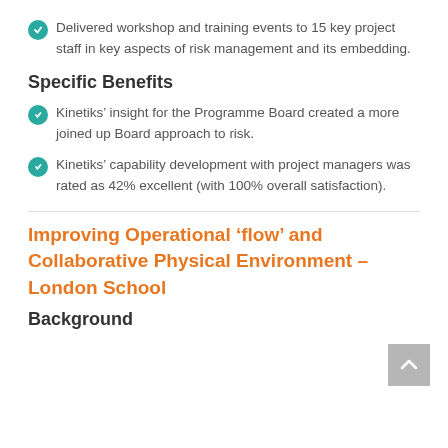Delivered workshop and training events to 15 key project staff in key aspects of risk management and its embedding.
Specific Benefits
Kinetiks’ insight for the Programme Board created a more joined up Board approach to risk.
Kinetiks’ capability development with project managers was rated as 42% excellent (with 100% overall satisfaction).
Improving Operational ‘flow’ and Collaborative Physical Environment – London School
Background